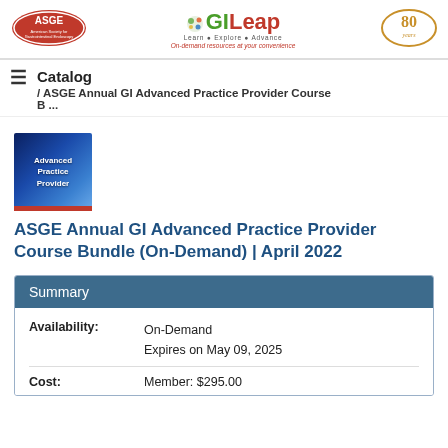ASGE | GILeap - Learn · Explore · Advance | On-demand resources at your convenience | 80 years
Catalog / ASGE Annual GI Advanced Practice Provider Course B ...
[Figure (illustration): Advanced Practice Provider course thumbnail image - blue gradient background with white bold text reading 'Advanced Practice Provider' and a red bar at the bottom]
ASGE Annual GI Advanced Practice Provider Course Bundle (On-Demand) | April 2022
| Field | Value |
| --- | --- |
| Availability: | On-Demand
Expires on May 09, 2025 |
| Cost: | Member: $295.00 |